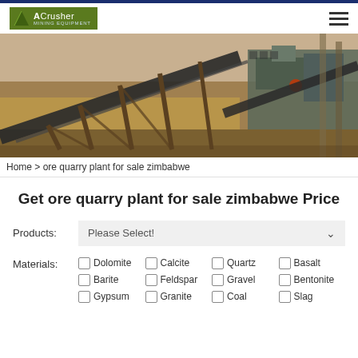ACrusher Mining Equipment
[Figure (photo): Industrial ore crushing and conveyor plant machinery with conveyor belts, structural supports, and processing equipment in an outdoor mining setting]
Home > ore quarry plant for sale zimbabwe
Get ore quarry plant for sale zimbabwe Price
Products: Please Select!
Materials: Dolomite  Calcite  Quartz  Basalt  Barite  Feldspar  Gravel  Bentonite  Gypsum  Granite  Coal  Slag